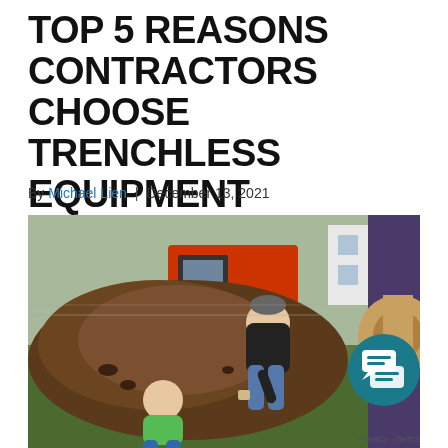TOP 5 REASONS CONTRACTORS CHOOSE TRENCHLESS EQUIPMENT
By Michael Lien | December 13, 2021
[Figure (photo): Outdoor construction scene with two workers near a large mound of dark soil. One worker in a black shirt and gray cap is bending over, the other in a green shirt is crouching. A red excavator is visible in the background, along with a large wooden cable spool on the right side.]
Privacy - Terms